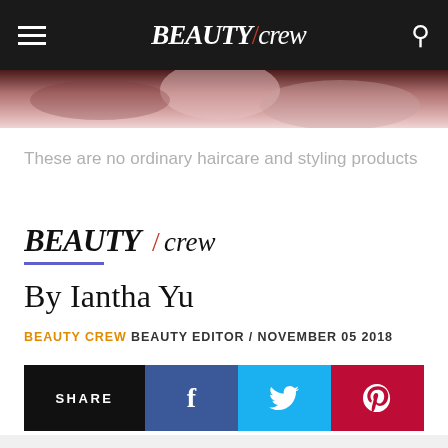BEAUTY/crew
[Figure (photo): Close-up photo of hair/fingers with pink/mauve tones]
These are no ordinary haircare and styling products
[Figure (logo): BEAUTY/crew logo in black]
By Iantha Yu
BEAUTY CREW BEAUTY EDITOR / NOVEMBER 05 2018
SHARE  f  Twitter  Pinterest